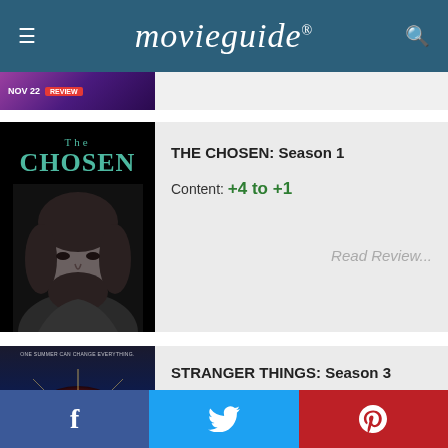movieguide®
[Figure (screenshot): Partial movie/show card with NOV 22 label and red REVIEW badge on purple background]
[Figure (photo): The Chosen Season 1 poster: black background with teal text 'The CHOSEN' and black-and-white portrait of a bearded man]
THE CHOSEN: Season 1
Content: +4 to +1
Read Review...
[Figure (photo): Stranger Things Season 3 poster with dark background and starburst graphic, text 'ONE SUMMER CAN CHANGE EVERYTHING.']
STRANGER THINGS: Season 3
Facebook  Twitter  Pinterest social share bar